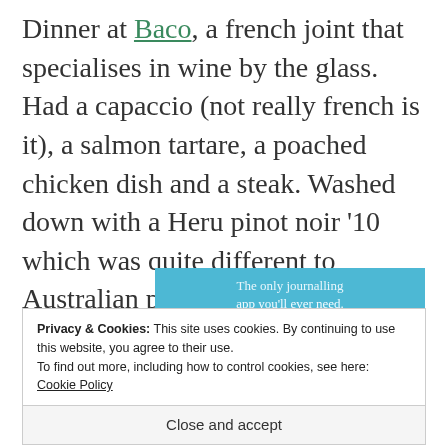Dinner at Baco, a french joint that specialises in wine by the glass. Had a capaccio (not really french is it), a salmon tartare, a poached chicken dish and a steak. Washed down with a Heru pinot noir '10 which was quite different to Australian pinot. Very strange aroma that was difficult to pin down, a nice drop though.
[Figure (other): Blue banner advertisement for a journalling app with text 'The only journalling app you'll ever need.' and decorative dot/star elements]
Privacy & Cookies: This site uses cookies. By continuing to use this website, you agree to their use.
To find out more, including how to control cookies, see here: Cookie Policy
Close and accept